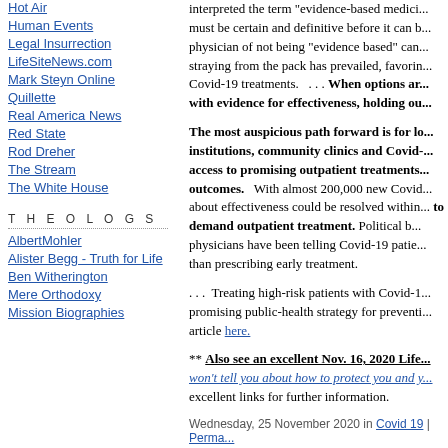Hot Air
Human Events
Legal Insurrection
LifeSiteNews.com
Mark Steyn Online
Quillette
Real America News
Red State
Rod Dreher
The Stream
The White House
T H E O L O G S
AlbertMohler
Alister Begg - Truth for Life
Ben Witherington
Mere Orthodoxy
Mission Biographies
interpreted the term "evidence-based medicine" ... must be certain and definitive before it can b... physician of not being "evidence based" can... straying from the pack has prevailed, favorin... Covid-19 treatments.    . . .  When options ar... with evidence for effectiveness, holding ou...
The most auspicious path forward is for lo... institutions, community clinics and Covid-... access to promising outpatient treatments... outcomes.   With almost 200,000 new Covi... about effectiveness could be resolved within... to demand outpatient treatment. Political b... physicians have been telling Covid-19 patie... than prescribing early treatment.
. . .  Treating high-risk patients with Covid-1... promising public-health strategy for preventi... article here.
** Also see an excellent Nov. 16, 2020 Life... won't tell you about how to protect you and y... excellent links for further information.
Wednesday, 25 November 2020 in Covid 19 | Perma...